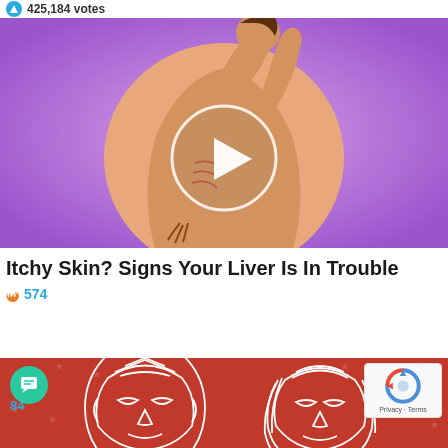425,184 votes
[Figure (illustration): Illustration of a person scratching their side/back showing itchy skin, with a play button overlay, on a purple background]
Itchy Skin? Signs Your Liver Is In Trouble
574
[Figure (illustration): Red background illustration showing two faces (male and female) drawn in white line art with stars pattern]